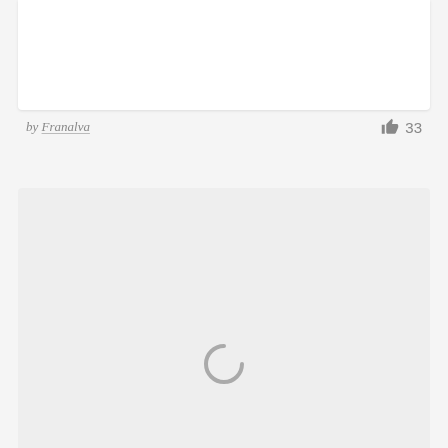[Figure (screenshot): Top portion of a white card, showing the top section of a content card with white background]
by Franalva
[Figure (infographic): Thumbs up icon followed by the number 33, indicating 33 likes]
[Figure (screenshot): A light gray card area with a loading spinner (circular arc) at the bottom center, indicating content is loading]